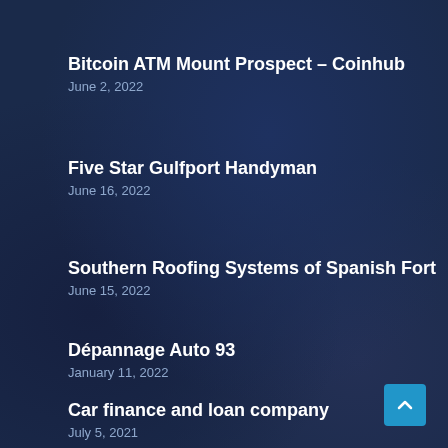Bitcoin ATM Mount Prospect – Coinhub
June 2, 2022
Five Star Gulfport Handyman
June 16, 2022
Southern Roofing Systems of Spanish Fort
June 15, 2022
Dépannage Auto 93
January 11, 2022
Car finance and loan company
July 5, 2021